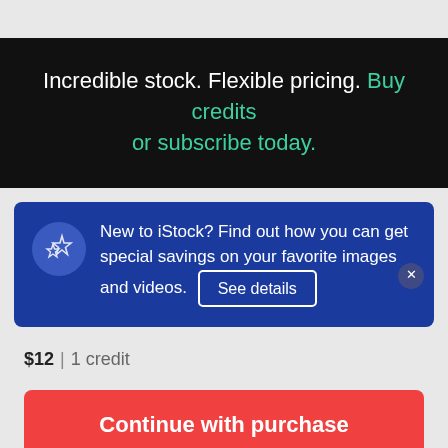Incredible stock. Flexible pricing. Buy credits or subscribe today.
New to iStock? Find out how you can get special savings on your favorite images and videos. See details
$12 | 1 credit
Continue with purchase